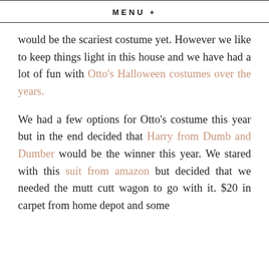MENU +
would be the scariest costume yet. However we like to keep things light in this house and we have had a lot of fun with Otto's Halloween costumes over the years.

We had a few options for Otto's costume this year but in the end decided that Harry from Dumb and Dumber would be the winner this year. We stared with this suit from amazon but decided that we needed the mutt cutt wagon to go with it. $20 in carpet from home depot and some